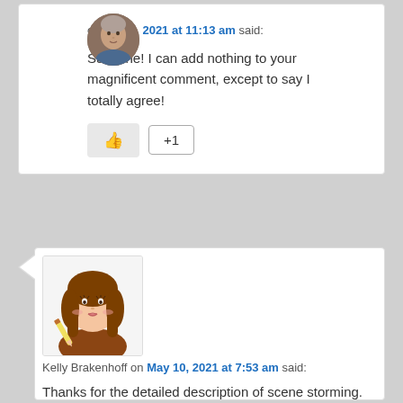[Figure (photo): Avatar photo of a man (older, gray hair) for the first comment]
on May 9, 2021 at 11:13 am said:
Suzanne! I can add nothing to your magnificent comment, except to say I totally agree!
[Figure (illustration): Animated avatar of a woman with brown hair holding a pen for Kelly Brakenhoff]
Kelly Brakenhoff on May 10, 2021 at 7:53 am said:
Thanks for the detailed description of scene storming. I've done several versions of that but never methodically, and I think that's what I need to practice. Combined with the writing dialogue